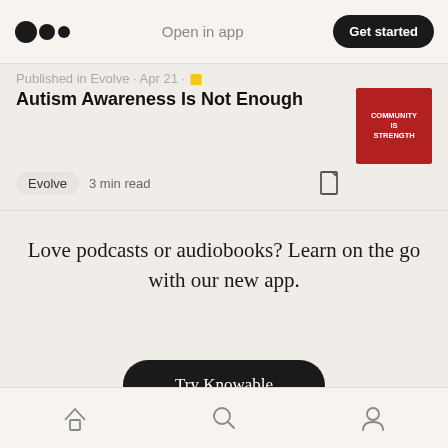Open in app | Get started
Published in Evolve · Apr 21 ·
Autism Awareness Is Not Enough
Evolve  3 min read
[Figure (photo): Thumbnail image showing a red sign that reads COMMUNITY IS STRENGTH]
Love podcasts or audiobooks? Learn on the go with our new app.
Try Knowable
Home | Search | Profile